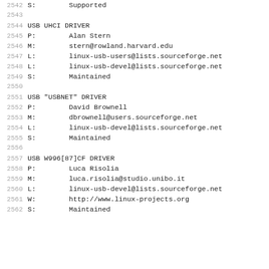2542    S:        Supported
2543
2544    USB UHCI DRIVER
2545    P:        Alan Stern
2546    M:        stern@rowland.harvard.edu
2547    L:        linux-usb-users@lists.sourceforge.net
2548    L:        linux-usb-devel@lists.sourceforge.net
2549    S:        Maintained
2550
2551    USB "USBNET" DRIVER
2552    P:        David Brownell
2553    M:        dbrownell@users.sourceforge.net
2554    L:        linux-usb-devel@lists.sourceforge.net
2555    S:        Maintained
2556
2557    USB W996[87]CF DRIVER
2558    P:        Luca Risolia
2559    M:        luca.risolia@studio.unibo.it
2560    L:        linux-usb-devel@lists.sourceforge.net
2561    W:        http://www.linux-projects.org
2562    S:        Maintained